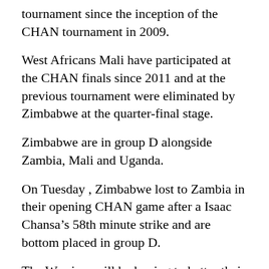tournament since the inception of the CHAN tournament in 2009.
West Africans Mali have participated at the CHAN finals since 2011 and at the previous tournament were eliminated by Zimbabwe at the quarter-final stage.
Zimbabwe are in group D alongside Zambia, Mali and Uganda.
On Tuesday , Zimbabwe lost to Zambia in their opening CHAN game after a Isaac Chansa’s 58th minute strike and are bottom placed in group D.
The Warriors will be hoping to better their previous exploit at the African Nations Championship where they came out fourth placed.
Source www.zifa.org.zw